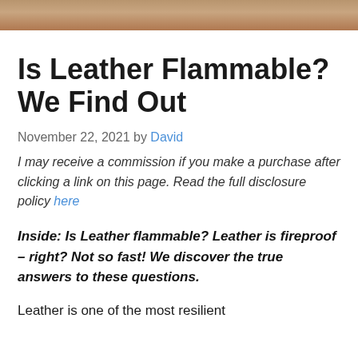[Figure (photo): Cropped photo strip at top of page, showing leather or person, partially visible]
Is Leather Flammable? We Find Out
November 22, 2021 by David
I may receive a commission if you make a purchase after clicking a link on this page. Read the full disclosure policy here
Inside: Is Leather flammable? Leather is fireproof – right? Not so fast! We discover the true answers to these questions.
Leather is one of the most resilient